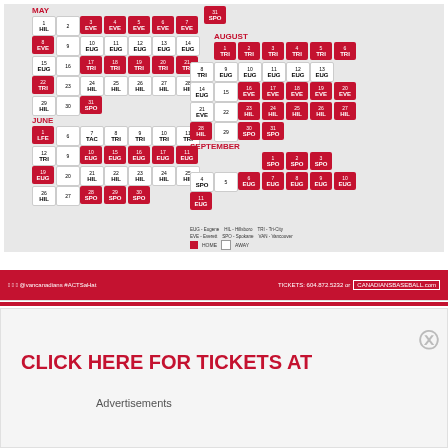[Figure (infographic): Vancouver Canadians baseball team schedule calendar for May, June, August, September showing home and away games with team abbreviations (EUG=Eugene, EVE=Everett, HIL=Hillsboro, TRI=Tri-City, SPO=Spokane, VAN=Vancouver). Red cells indicate home games, white cells indicate away games.]
TICKETS: 604.872.5232 or CANADIANSBASEBALL.com
EUG - Eugene   HIL - Hillsboro   TRI - Tri-City
EVE - Everett   SPO - Spokane   VAN - Vancouver
HOME  AWAY
CLICK HERE FOR TICKETS AT
Advertisements